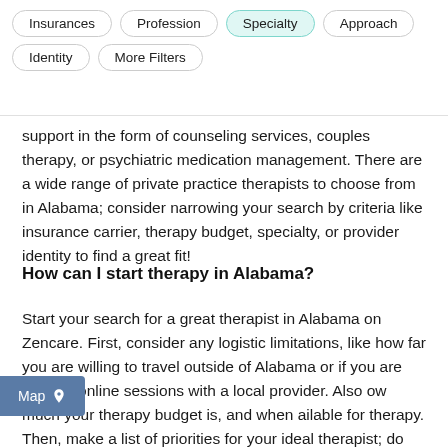Insurances
Profession
Specialty
Approach
Identity
More Filters
support in the form of counseling services, couples therapy, or psychiatric medication management. There are a wide range of private practice therapists to choose from in Alabama; consider narrowing your search by criteria like insurance carrier, therapy budget, specialty, or provider identity to find a great fit!
How can I start therapy in Alabama?
Start your search for a great therapist in Alabama on Zencare. First, consider any logistic limitations, like how far you are willing to travel outside of Alabama or if you are open to online sessions with a local provider. Also [Map] ow much your therapy budget is, and when ailable for therapy. Then, make a list of priorities for your ideal therapist; do they match your